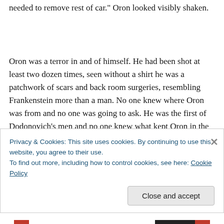needed to remove rest of car." Oron looked visibly shaken.
Oron was a terror in and of himself. He had been shot at least two dozen times, seen without a shirt he was a patchwork of scars and back room surgeries, resembling Frankenstein more than a man. No one knew where Oron was from and no one was going to ask. He was the first of Dodonovich's men and no one knew what kept Oron in the
Privacy & Cookies: This site uses cookies. By continuing to use this website, you agree to their use.
To find out more, including how to control cookies, see here: Cookie Policy
Close and accept